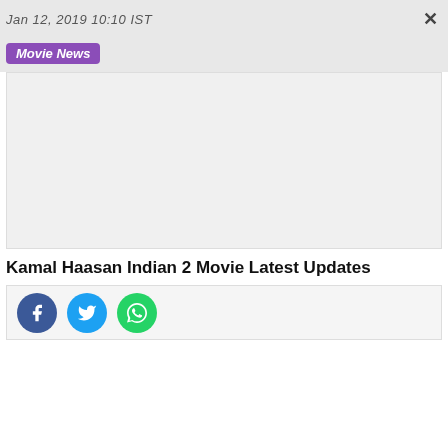Jan 12, 2019 10:10 IST
Movie News
[Figure (photo): Empty image placeholder area for article]
Kamal Haasan Indian 2 Movie Latest Updates
[Figure (infographic): Social sharing buttons: Facebook, Twitter, WhatsApp]